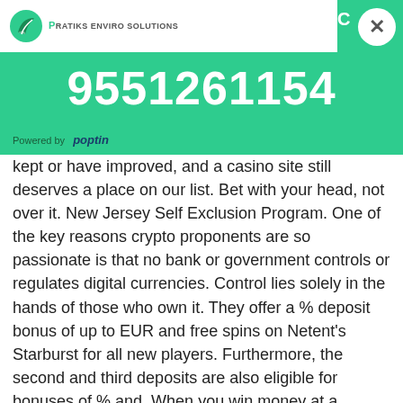[Figure (logo): Pratiks Enviro Solutions logo with green leaf icon and text]
CLICK TO CALL:
[Figure (other): Close button X circle]
9551261154
Powered by poptin
kept or have improved, and a casino site still deserves a place on our list. Bet with your head, not over it. New Jersey Self Exclusion Program. One of the key reasons crypto proponents are so passionate is that no bank or government controls or regulates digital currencies. Control lies solely in the hands of those who own it. They offer a % deposit bonus of up to EUR and free spins on Netent's Starburst for all new players. Furthermore, the second and third deposits are also eligible for bonuses of % and. When you win money at a casino, it should be quick and easy to withdraw. The best online casinos offer